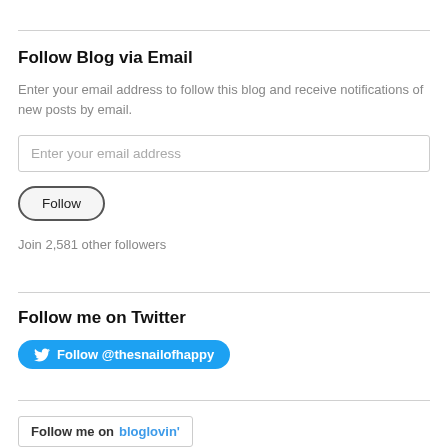Follow Blog via Email
Enter your email address to follow this blog and receive notifications of new posts by email.
Enter your email address
Follow
Join 2,581 other followers
Follow me on Twitter
Follow @thesnailofhappy
Follow me on bloglovin'